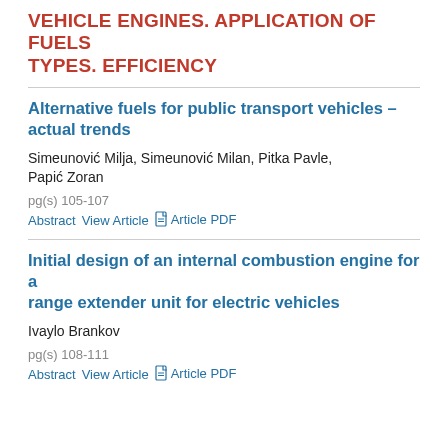VEHICLE ENGINES. APPLICATION OF FUELS TYPES. EFFICIENCY
Alternative fuels for public transport vehicles – actual trends
Simeunović Milja, Simeunović Milan, Pitka Pavle, Papić Zoran
pg(s) 105-107
Abstract  View Article  Article PDF
Initial design of an internal combustion engine for a range extender unit for electric vehicles
Ivaylo Brankov
pg(s) 108-111
Abstract  View Article  Article PDF